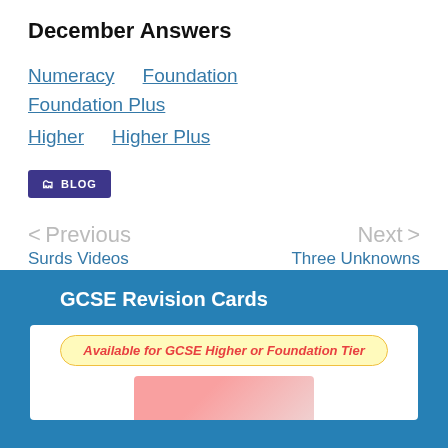December Answers
Numeracy   Foundation   Foundation Plus   Higher   Higher Plus
BLOG
< Previous
Surds Videos
Next >
Three Unknowns Textbook Answers
GCSE Revision Cards
Available for GCSE Higher or Foundation Tier